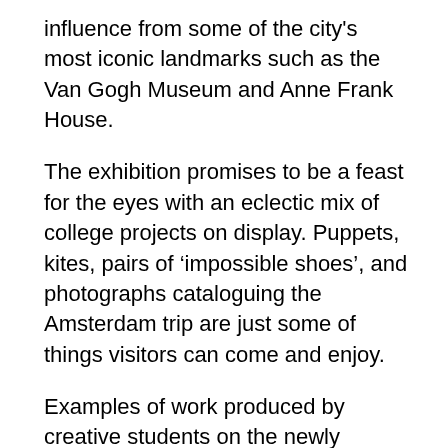influence from some of the city's most iconic landmarks such as the Van Gogh Museum and Anne Frank House.
The exhibition promises to be a feast for the eyes with an eclectic mix of college projects on display. Puppets, kites, pairs of ‘impossible shoes’, and photographs cataloguing the Amsterdam trip are just some of things visitors can come and enjoy.
Examples of work produced by creative students on the newly formed Foundation Degree in Communication Design, which runs at the Witney campus, are also featuring at Cornerstone. In the first term, students on the course were introduced to modules in Ideas & Communication and Visual Language through a series of projects that required them to utilise a range of idea generation and visual communication skills.